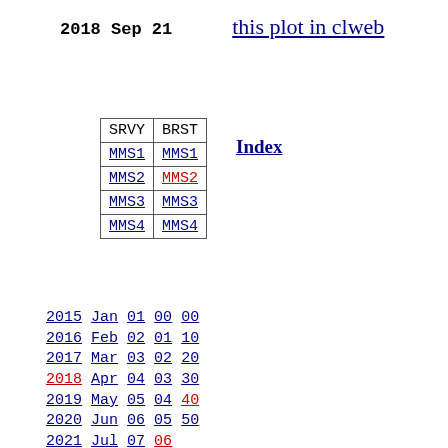2018 Sep 21    this plot in clweb
Index
| SRVY | BRST |
| --- | --- |
| MMS1 | MMS1 |
| MMS2 | MMS2 |
| MMS3 | MMS3 |
| MMS4 | MMS4 |
2015 Jan 01 00 00
2016 Feb 02 01 10
2017 Mar 03 02 20
2018 Apr 04 03 30
2019 May 05 04 40
2020 Jun 06 05 50
2021 Jul 07 06
2022 Aug 08 07
Sep 09 08
Oct 10 09